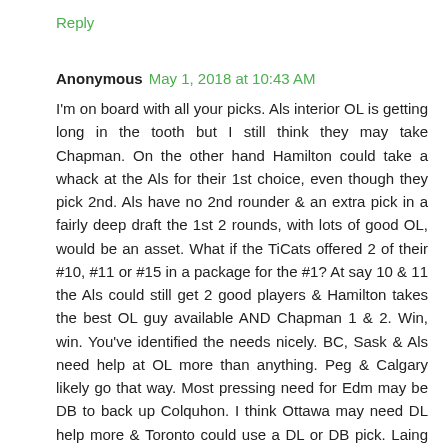Reply
Anonymous May 1, 2018 at 10:43 AM
I'm on board with all your picks. Als interior OL is getting long in the tooth but I still think they may take Chapman. On the other hand Hamilton could take a whack at the Als for their 1st choice, even though they pick 2nd. Als have no 2nd rounder & an extra pick in a fairly deep draft the 1st 2 rounds, with lots of good OL, would be an asset. What if the TiCats offered 2 of their #10, #11 or #15 in a package for the #1? At say 10 & 11 the Als could still get 2 good players & Hamilton takes the best OL guy available AND Chapman 1 & 2. Win, win. You've identified the needs nicely. BC, Sask & Als need help at OL more than anything. Peg & Calgary likely go that way. Most pressing need for Edm may be DB to back up Colquhon. I think Ottawa may need DL help more & Toronto could use a DL or DB pick. Laing only played 11 games & I don't like Gaydosh much. Don't think he'll ever hit the potential everyone thought he had. WR good pick for Riders in 2nd round. Simonise is a wild card but a BIG receiver. I think Bombers might pick him up